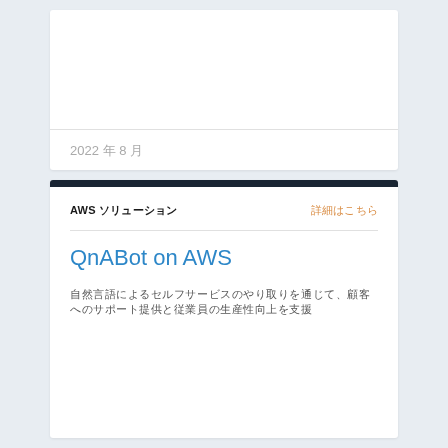2022 年 8 月
AWS ソリューション
詳細はこちら
QnABot on AWS
自然言語によるセルフサービスのやり取りを通じて、顧客へのサポート提供と従業員の生産性向上を支援